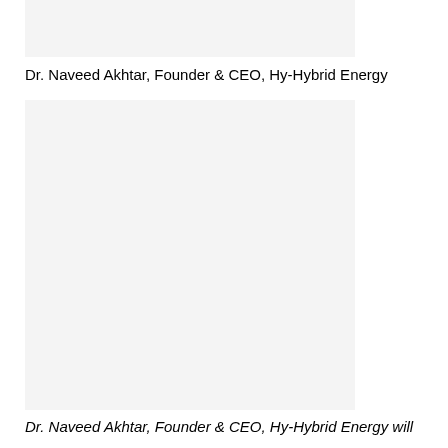[Figure (photo): Top portion of a photo showing Dr. Naveed Akhtar, cropped at top of page]
Dr. Naveed Akhtar, Founder & CEO, Hy-Hybrid Energy
[Figure (photo): Main portrait photo of Dr. Naveed Akhtar, Founder & CEO, Hy-Hybrid Energy]
Dr. Naveed Akhtar, Founder & CEO, Hy-Hybrid Energy will